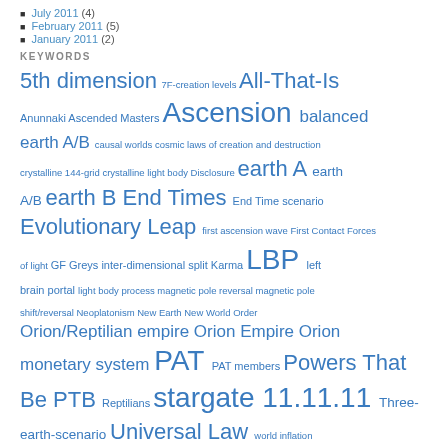July 2011 (4)
February 2011 (5)
January 2011 (2)
KEYWORDS
5th dimension 7F-creation levels All-That-Is Anunnaki Ascended Masters Ascension balanced earth A/B causal worlds cosmic laws of creation and destruction crystalline 144-grid crystalline light body Disclosure earth A earth A/B earth B End Times End Time scenario Evolutionary Leap first ascension wave First Contact Forces of light GF Greys inter-dimensional split Karma LBP left brain portal light body process magnetic pole reversal magnetic pole shift/reversal Neoplatonism New Earth New World Order Orion/Reptilian empire Orion Empire Orion monetary system PAT PAT members Powers That Be PTB Reptilians stargate 11.11.11 Three-earth-scenario Universal Law world inflation
STANKOV'S UNIVERSAL LAW PRESS   Proudly powered by WordPress.